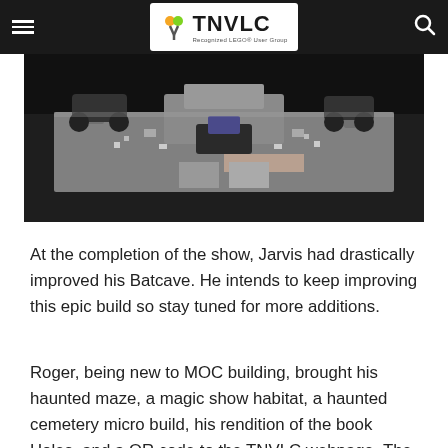TNVLC - Recognized LEGO® User Group
[Figure (photo): Aerial/overhead view of a large LEGO Batcave MOC build displayed on a dark table surface, showing vehicles and detailed structures in grey tones]
At the completion of the show, Jarvis had drastically improved his Batcave.  He intends to keep improving this epic build so stay tuned for more additions.
Roger, being new to MOC building, brought his haunted maze, a magic show habitat, a haunted cemetery micro build, his rendition of the book Holes, and a QR code to the TNVLC webpage. The highlight of his display was helping kids and adults alike find Stanley Yelnats in his Holes MOC